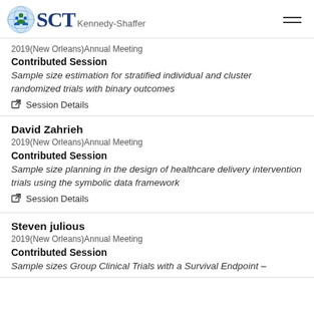SCT Kennedy-Shaffer 2019(New Orleans)Annual Meeting
2019(New Orleans)Annual Meeting
Contributed Session
Sample size estimation for stratified individual and cluster randomized trials with binary outcomes
Session Details
David Zahrieh
2019(New Orleans)Annual Meeting
Contributed Session
Sample size planning in the design of healthcare delivery intervention trials using the symbolic data framework
Session Details
Steven julious
2019(New Orleans)Annual Meeting
Contributed Session
Sample sizes Group Clinical Trials with a Survival Endpoint -